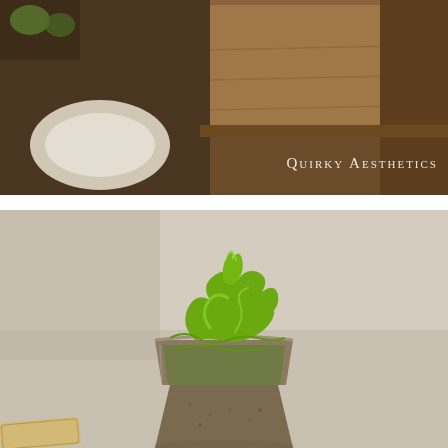[Figure (photo): Top photo showing a wooden box/tray with a white lace doily and what appears to be food items in warm brown tones. Watermark text 'QUIRKY AESTHETICS' overlaid in white small caps on the right side.]
[Figure (photo): Bottom photo showing a close-up of a clear plastic cup containing matcha (green tea) soft serve ice cream swirled into a decorative peak, set against a light beige/grey background. A cookie or wafer is visible at the bottom left.]